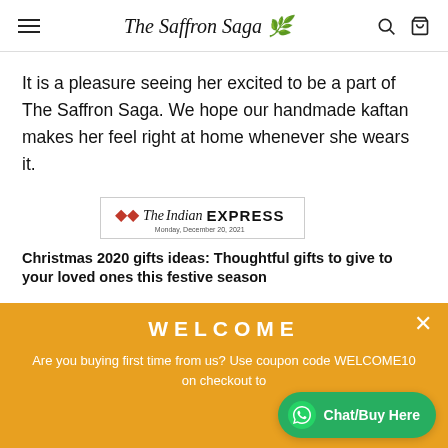The Saffron Saga
It is a pleasure seeing her excited to be a part of The Saffron Saga. We hope our handmade kaftan makes her feel right at home whenever she wears it.
[Figure (screenshot): The Indian Express newspaper logo with date Monday, December 20, 2021]
Christmas 2020 gifts ideas: Thoughtful gifts to give to your loved ones this festive season
[Figure (infographic): Orange welcome popup overlay with text: WELCOME. Are you buying first time from us? Use coupon code WELCOME10 on checkout to... Chat/Buy Here green button with WhatsApp icon.]